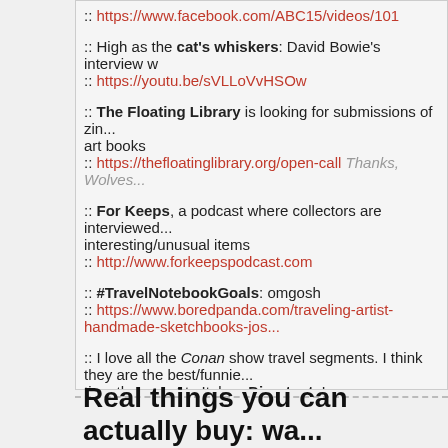:: https://www.facebook.com/ABC15/videos/101
:: High as the cat's whiskers: David Bowie's interview w...
:: https://youtu.be/sVLLoVvHSOw
:: The Floating Library is looking for submissions of zin... art books
:: https://thefloatinglibrary.org/open-call Thanks, Wolves...
:: For Keeps, a podcast where collectors are interviewed... interesting/unusual items
:: http://www.forkeepspodcast.com
:: #TravelNotebookGoals: omgosh
:: https://www.boredpanda.com/traveling-artist-handmade-sketchbooks-jos...
:: I love all the Conan show travel segments. I think they are the best/funnie... time they went to Italy… Divertente!
:: http://teamcoco.com/italy
:: This Joe Coleman is brilliant.
:: http://getcoleman.com
Real things you can actually buy: wa...